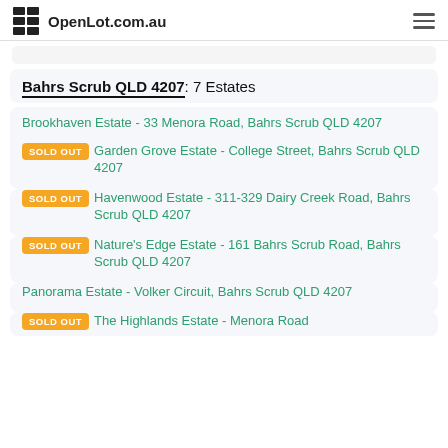OpenLot.com.au
Bahrs Scrub QLD 4207: 7 Estates
Brookhaven Estate - 33 Menora Road, Bahrs Scrub QLD 4207
SOLD OUT  Garden Grove Estate - College Street, Bahrs Scrub QLD 4207
SOLD OUT  Havenwood Estate - 311-329 Dairy Creek Road, Bahrs Scrub QLD 4207
SOLD OUT  Nature's Edge Estate - 161 Bahrs Scrub Road, Bahrs Scrub QLD 4207
Panorama Estate - Volker Circuit, Bahrs Scrub QLD 4207
SOLD OUT  The Highlands Estate - Menora Road